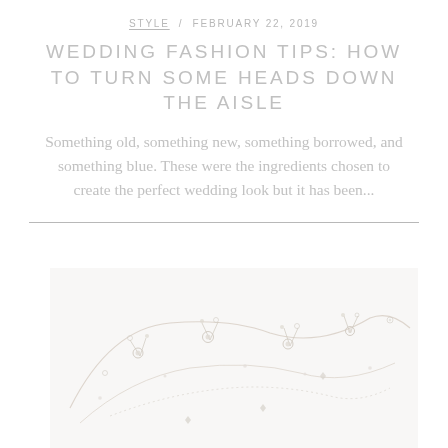STYLE / FEBRUARY 22, 2019
WEDDING FASHION TIPS: HOW TO TURN SOME HEADS DOWN THE AISLE
Something old, something new, something borrowed, and something blue. These were the ingredients chosen to create the perfect wedding look but it has been...
[Figure (photo): A delicate bridal hair crown/tiara made of fine wire with small pearl and crystal embellishments, photographed on a white background.]